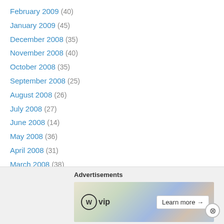February 2009 (40)
January 2009 (45)
December 2008 (35)
November 2008 (40)
October 2008 (35)
September 2008 (25)
August 2008 (26)
July 2008 (27)
June 2008 (14)
May 2008 (36)
April 2008 (31)
March 2008 (38)
February 2008 (39)
January 2008 (49)
December 2007 (24)
November 2007 (46)
Advertisements